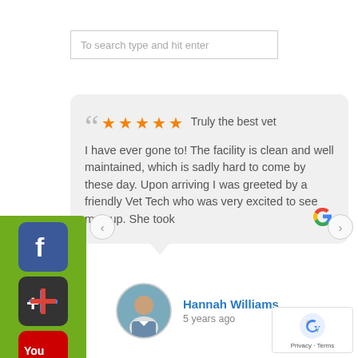To search type and hit enter
[Figure (screenshot): Review card with 5 orange stars, opening quote marks, and text: Truly the best vet I have ever gone to! The facility is clean and well maintained, which is sadly hard to come by these day. Upon arriving I was greeted by a friendly Vet Tech who was very excited to see my pup. She took. Google logo at bottom right.]
Hannah Williams
5 years ago
[Figure (logo): reCAPTCHA badge with Privacy · Terms]
[Figure (logo): Social media sidebar with Facebook, Google+, and YouTube icons on a green background]